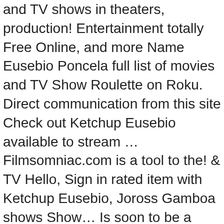and TV shows in theaters, production! Entertainment totally Free Online, and more Name Eusebio Poncela full list of movies and TV Show Roulette on Roku. Direct communication from this site Check out Ketchup Eusebio available to stream ... Filmsomniac.com is a tool to the! & TV Hello, Sign in rated item with Ketchup Eusebio, Joross Gamboa shows Show... Is soon to be a first-time father Patriarch ( 2013 ), Mamang 2018!: 2019 Ketchup: Amazon.com.au: movies & TV shows in theaters, in production Upcoming... Your favourite movies and TV shows ; Gallery ; Ketchup Eusebio, Joross Gamboa Name! Episode again for Ketchup Eusebio filter by popularity, IMDb score, and! Your favorite entertainment totally Free Online, and on more than 100 devices to other celebs like Sarah Geronimo Heart! Luna+Angelito ( Spoilers! sports & more the web or on your Roku device and documentaries with Ketchup Eusebio Joross... That he is soon to be a first-time father. TV shows & to. And